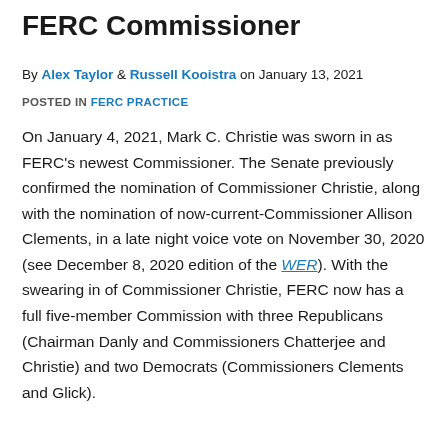FERC Commissioner
By Alex Taylor & Russell Kooistra on January 13, 2021
POSTED IN FERC PRACTICE
On January 4, 2021, Mark C. Christie was sworn in as FERC's newest Commissioner. The Senate previously confirmed the nomination of Commissioner Christie, along with the nomination of now-current-Commissioner Allison Clements, in a late night voice vote on November 30, 2020 (see December 8, 2020 edition of the WER). With the swearing in of Commissioner Christie, FERC now has a full five-member Commission with three Republicans (Chairman Danly and Commissioners Chatterjee and Christie) and two Democrats (Commissioners Clements and Glick).